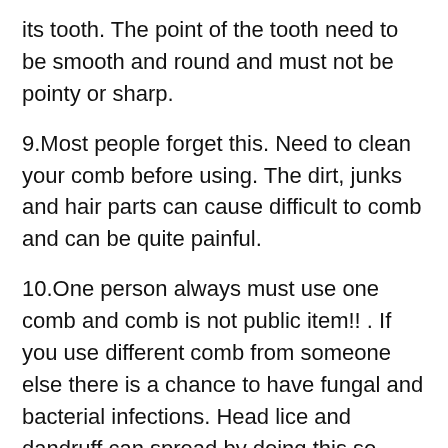its tooth. The point of the tooth need to be smooth and round and must not be pointy or sharp.
9.Most people forget this. Need to clean your comb before using. The dirt, junks and hair parts can cause difficult to comb and can be quite painful.
10.One person always must use one comb and comb is not public item!! . If you use different comb from someone else there is a chance to have fungal and bacterial infections. Head lice and dandruff can spread by doing this.so don't share your comb.